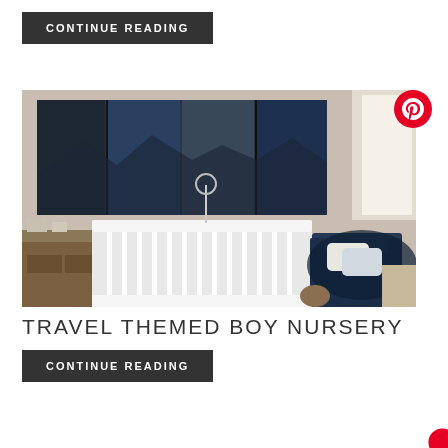CONTINUE READING
[Figure (photo): Travel themed boy nursery room with multi-panel mountain landscape artwork on the wall, white crib with mobile, navy blue armchair with blanket and pillows]
TRAVEL THEMED BOY NURSERY
CONTINUE READING